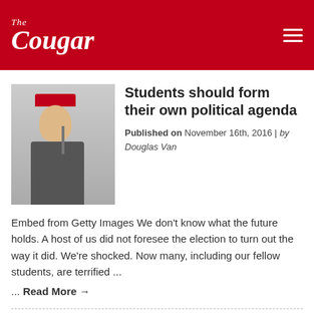The Cougar
[Figure (photo): Thumbnail photo of a man at a podium wearing a red hat, speaking into a microphone]
Students should form their own political agenda
Published on November 16th, 2016 | by Douglas Van
Embed from Getty Images We don't know what the future holds. A host of us did not foresee the election to turn out the way it did. We're shocked. Now many, including our fellow students, are terrified ...
... Read More →
[Figure (photo): Partial preview image for next article about Homeland Security — blue/grey rectangle with partial face visible at bottom]
Homeland Security